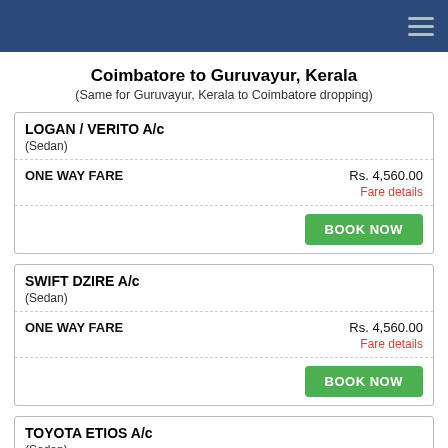Coimbatore to Guruvayur, Kerala
(Same for Guruvayur, Kerala to Coimbatore dropping)
| Car | Fare |
| --- | --- |
| LOGAN / VERITO A/c (Sedan) | Rs. 4,560.00 |
| ONE WAY FARE | Rs. 4,560.00 / Fare details / BOOK NOW |
| Car | Fare |
| --- | --- |
| SWIFT DZIRE A/c (Sedan) | Rs. 4,560.00 |
| ONE WAY FARE | Rs. 4,560.00 / Fare details / BOOK NOW |
TOYOTA ETIOS A/c (Sedan)